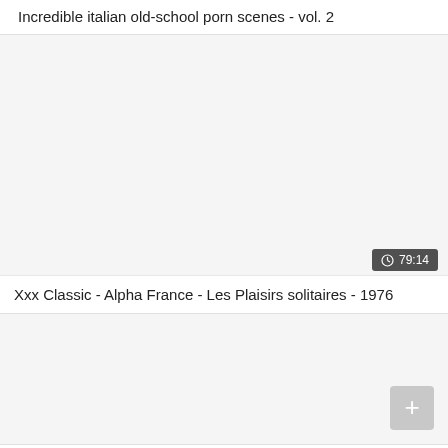Incredible italian old-school porn scenes - vol. 2
[Figure (screenshot): Video thumbnail placeholder (light gray/white area) for first video card]
79:14
Xxx Classic - Alpha France - Les Plaisirs solitaires - 1976
[Figure (screenshot): Video thumbnail placeholder (light gray/white area) for second video card]